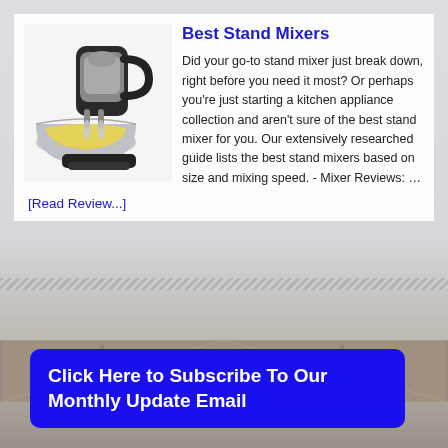[Figure (photo): Stand mixer with stainless steel bowl containing yellow batter, black and silver body]
Best Stand Mixers
Did your go-to stand mixer just break down, right before you need it most? Or perhaps you're just starting a kitchen appliance collection and aren't sure of the best stand mixer for you. Our extensively researched guide lists the best stand mixers based on size and mixing speed. - Mixer Reviews: …
[Read Review...]
[Figure (photo): Background photo of indoor hall/gym with people walking]
Click Here to Subscribe To Our Monthly Update Email